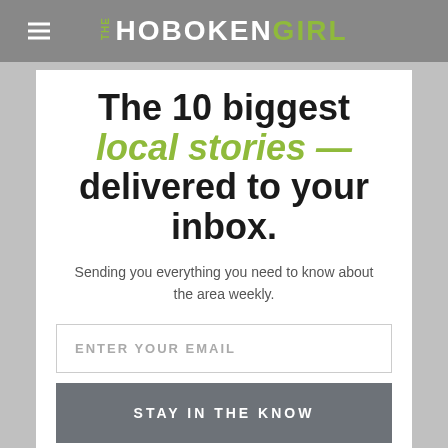THE HOBOKEN GIRL
The 10 biggest local stories — delivered to your inbox.
Sending you everything you need to know about the area weekly.
ENTER YOUR EMAIL
STAY IN THE KNOW
Foundation. Learn/donate more here.